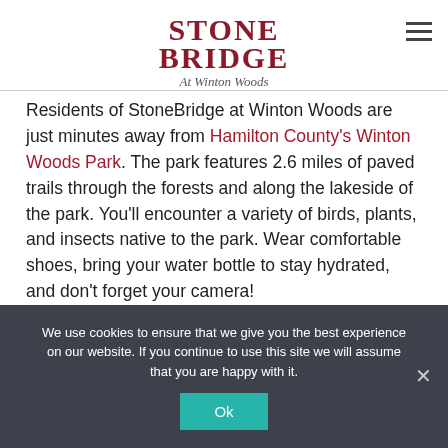[Figure (logo): StoneBridge At Winton Woods logo — text logo with 'STONE BRIDGE' in dark red serif capitals and 'At Winton Woods' in italic script below]
Residents of StoneBridge at Winton Woods are just minutes away from Hamilton County's Winton Woods Park. The park features 2.6 miles of paved trails through the forests and along the lakeside of the park. You'll encounter a variety of birds, plants, and insects native to the park. Wear comfortable shoes, bring your water bottle to stay hydrated, and don't forget your camera!
We use cookies to ensure that we give you the best experience on our website. If you continue to use this site we will assume that you are happy with it.